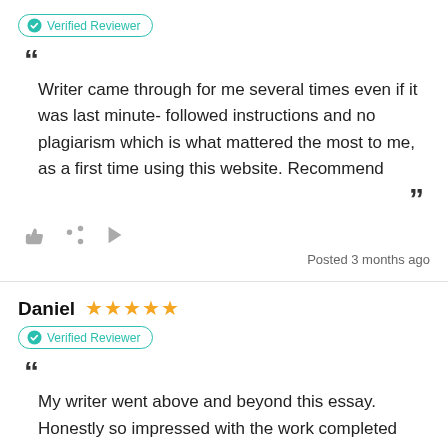Verified Reviewer
Writer came through for me several times even if it was last minute- followed instructions and no plagiarism which is what mattered the most to me, as a first time using this website. Recommend
Posted 3 months ago
Daniel ★★★★★
Verified Reviewer
My writer went above and beyond this essay. Honestly so impressed with the work completed and will definitely use her services again. Highly